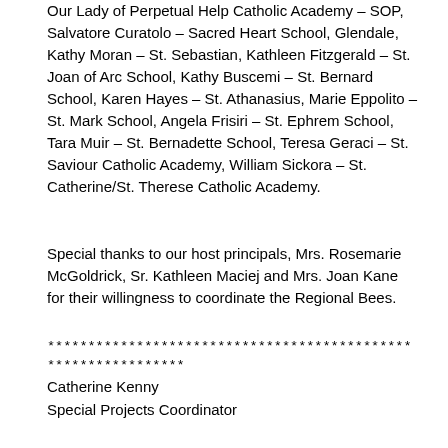Our Lady of Perpetual Help Catholic Academy – SOP, Salvatore Curatolo – Sacred Heart School, Glendale, Kathy Moran – St. Sebastian, Kathleen Fitzgerald – St. Joan of Arc School, Kathy Buscemi – St. Bernard School, Karen Hayes – St. Athanasius, Marie Eppolito – St. Mark School, Angela Frisiri – St. Ephrem School, Tara Muir – St. Bernadette School, Teresa Geraci – St. Saviour Catholic Academy, William Sickora – St. Catherine/St. Therese Catholic Academy.
Special thanks to our host principals, Mrs. Rosemarie McGoldrick, Sr. Kathleen Maciej and Mrs. Joan Kane for their willingness to coordinate the Regional Bees.
********************************************* *****************
Catherine Kenny
Special Projects Coordinator